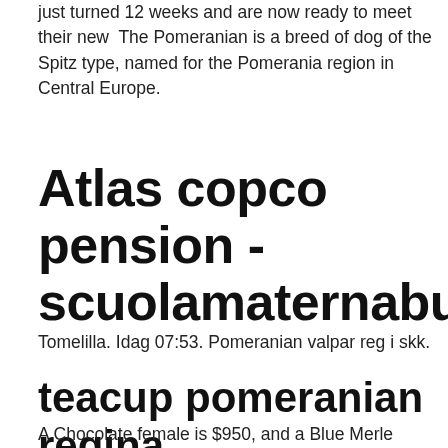just turned 12 weeks and are now ready to meet their new  The Pomeranian is a breed of dog of the Spitz type, named for the Pomerania region in Central Europe.
Atlas copco pension - scuolamaternabuscate.it
Tomelilla. Idag 07:53. Pomeranian valpar reg i skk.
teacup pomeranian regina
A Chocolate female is $950, and a Blue Merle female is $1600. The Pomeranian Breeders...